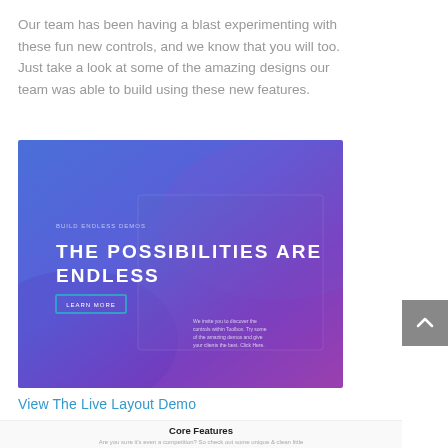Our team has been having a blast experimenting with these fun new controls, and we know that you will too. Just take a look at some of the amazing designs our team was able to build using these new features.
[Figure (screenshot): A screenshot of a webpage with a purple-to-blue gradient background showing large white bold text 'THE POSSIBILITIES ARE ENDLESS' with a blue button below and small body text in the lower right corner.]
View The Live Layout Demo
Core Features
Are you sure it's even a competition? So check out some unique & clean little demos. Grouped our nicely by some powerful mobile ready key files.
[Figure (infographic): Three icons in a row: a drag-and-drop icon, a panel-switcher icon (active/highlighted), and a flexible layouts icon, each with a label below.]